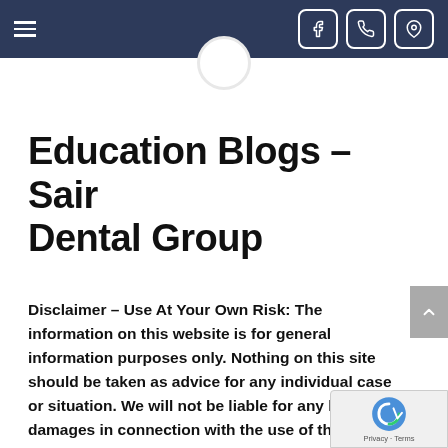Navigation header with hamburger menu and social/contact icons (Facebook, Phone, Location)
[Figure (logo): White circular logo partially visible at top center, overlapping the header]
Education Blogs – Sair Dental Group
Disclaimer – Use At Your Own Risk: The information on this website is for general information purposes only. Nothing on this site should be taken as advice for any individual case or situation. We will not be liable for any loss or damages in connection with the use of the information from these blogs. All blogs are meant